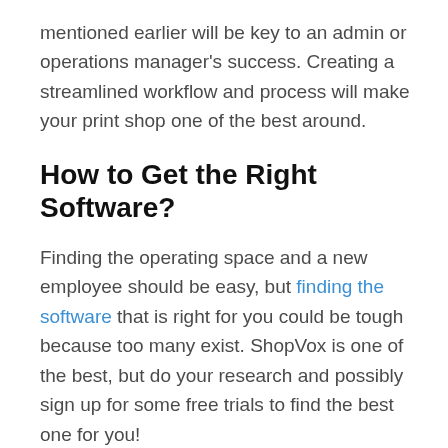mentioned earlier will be key to an admin or operations manager's success. Creating a streamlined workflow and process will make your print shop one of the best around.
How to Get the Right Software?
Finding the operating space and a new employee should be easy, but finding the software that is right for you could be tough because too many exist. ShopVox is one of the best, but do your research and possibly sign up for some free trials to find the best one for you!